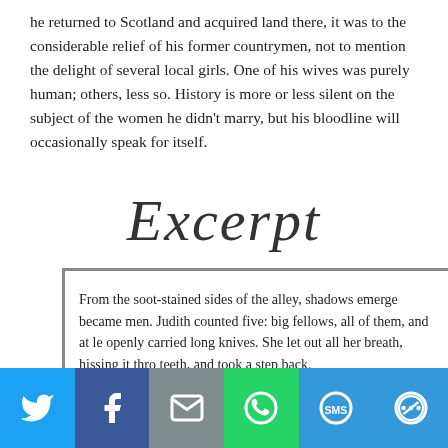he returned to Scotland and acquired land there, it was to the considerable relief of his former countrymen, not to mention the delight of several local girls. One of his wives was purely human; others, less so. History is more or less silent on the subject of the women he didn't marry, but his bloodline will occasionally speak for itself.
[Figure (illustration): Decorative cursive/script word 'Excerpt' in dark stylized font]
From the soot-stained sides of the alley, shadows emerge became men. Judith counted five: big fellows, all of them, and at le openly carried long knives. She let out all her breath, hissing it thro teeth, and took a step back.
[Figure (infographic): Social sharing bar with Twitter, Facebook, Email, WhatsApp, SMS, and other share buttons]